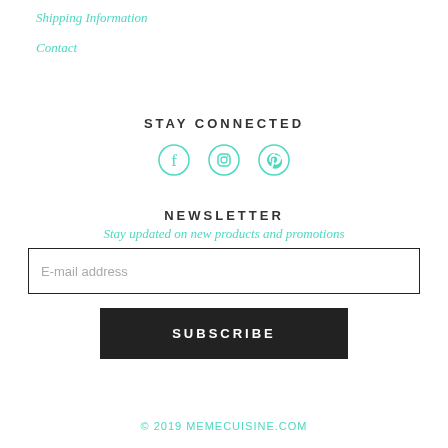Shipping Information
Contact
STAY CONNECTED
[Figure (other): Social media icons: Facebook, Instagram, Pinterest in teal outline style]
NEWSLETTER
Stay updated on new products and promotions
E-mail address
SUBSCRIBE
© 2019 MEMECUISINE.COM